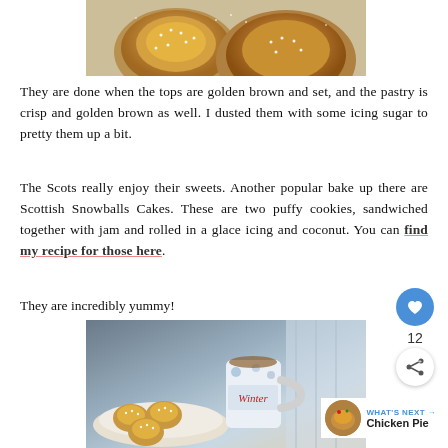[Figure (photo): Close-up photo of golden-brown pastry tarts dusted with icing sugar on a surface]
They are done when the tops are golden brown and set, and the pastry is crisp and golden brown as well. I dusted them with some icing sugar to pretty them up a bit.
The Scots really enjoy their sweets. Another popular bake up there are Scottish Snowballs Cakes. These are two puffy cookies, sandwiched together with jam and rolled in a glace icing and coconut. You can find my recipe for those here.
They are incredibly yummy!
[Figure (photo): Photo of small round pastry tarts on a plate next to a decorative mug with Winter text, with curtain in background]